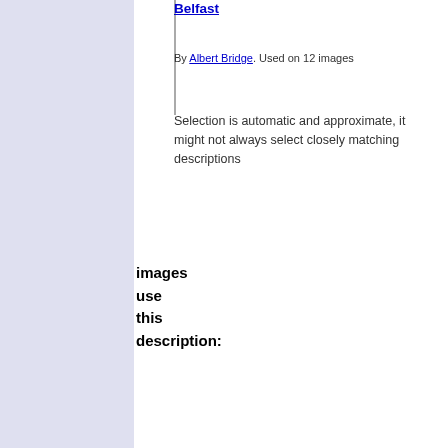Belfast
By Albert Bridge. Used on 12 images
Selection is automatic and approximate, it might not always select closely matching descriptions
images use this description: